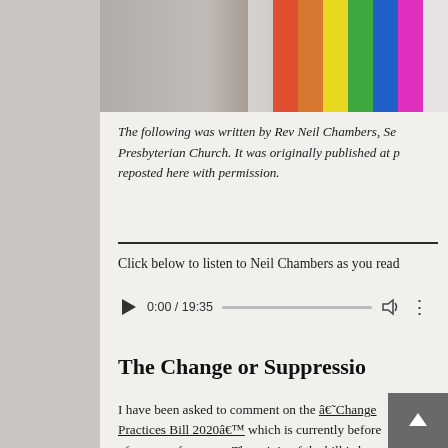[Figure (photo): Notebook/journal page layout with spiral binding on the left side and a photo strip at the top showing colorful fabric stripes and objects]
The following was written by Rev Neil Chambers, Se… Presbyterian Church. It was originally published at … reposted here with permission.
Click below to listen to Neil Chambers as you read…
[Figure (other): Audio player showing 0:00 / 19:35 with play button, progress bar, volume and more icons]
The Change or Suppressio…
I have been asked to comment on the â€˜Change… Practices Bill 2020â€™ which is currently before… of concern for many. The origin of the bill is he c… been harmed and are still being harmed by the co…